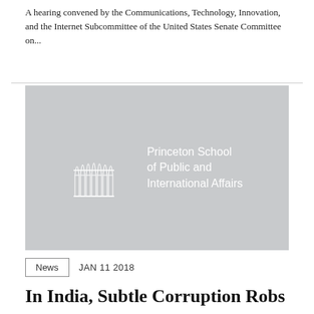A hearing convened by the Communications, Technology, Innovation, and the Internet Subcommittee of the United States Senate Committee on...
[Figure (logo): Princeton School of Public and International Affairs logo on grey background with architectural column motif]
News   JAN 11 2018
In India, Subtle Corruption Robs